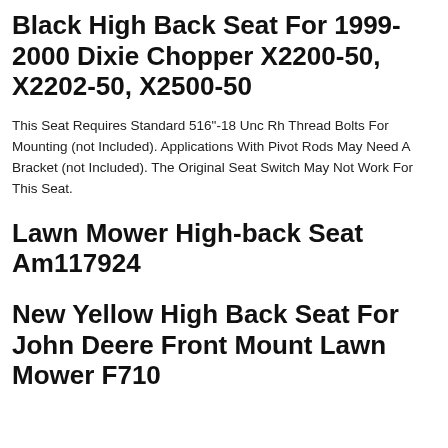Black High Back Seat For 1999-2000 Dixie Chopper X2200-50, X2202-50, X2500-50
This Seat Requires Standard 516"-18 Unc Rh Thread Bolts For Mounting (not Included). Applications With Pivot Rods May Need A Bracket (not Included). The Original Seat Switch May Not Work For This Seat.
Lawn Mower High-back Seat Am117924
New Yellow High Back Seat For John Deere Front Mount Lawn Mower F710